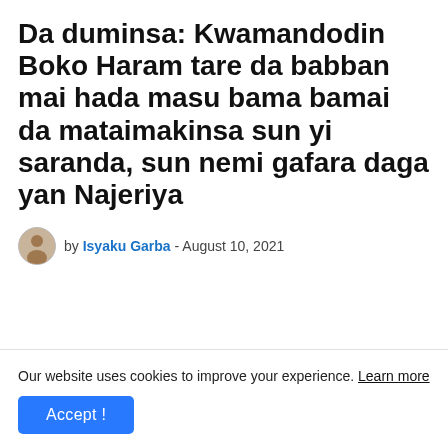Da duminsa: Kwamandodin Boko Haram tare da babban mai hada masu bama bamai da mataimakinsa sun yi saranda, sun nemi gafara daga yan Najeriya
by Isyaku Garba - August 10, 2021
Our website uses cookies to improve your experience. Learn more
Accept !